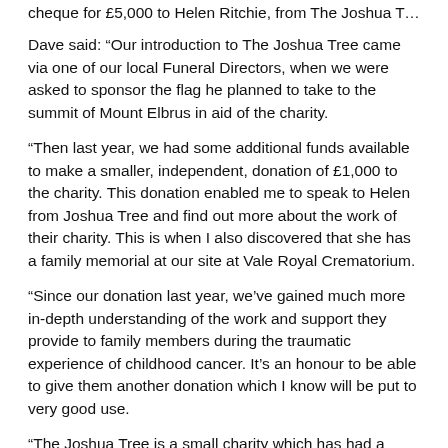cheque for £5,000 to Helen Ritchie, from The Joshua Tree.
Dave said: “Our introduction to The Joshua Tree came via one of our local Funeral Directors, when we were asked to sponsor the flag he planned to take to the summit of Mount Elbrus in aid of the charity.
“Then last year, we had some additional funds available to make a smaller, independent, donation of £1,000 to the charity. This donation enabled me to speak to Helen from Joshua Tree and find out more about the work of their charity. This is when I also discovered that she has a family memorial at our site at Vale Royal Crematorium.
“Since our donation last year, we’ve gained much more in-depth understanding of the work and support they provide to family members during the traumatic experience of childhood cancer. It’s an honour to be able to give them another donation which I know will be put to very good use.
“The Joshua Tree is a small charity which has had a record number of referrals in a small time frame. We know that our donation will be a huge help to them and the families with a child with cancer.”